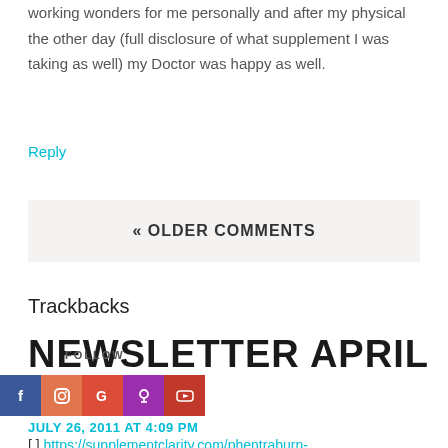working wonders for me personally and after my physical the other day (full disclosure of what supplement I was taking as well) my Doctor was happy as well.
Reply
« OLDER COMMENTS
Trackbacks
NEWSLETTER APRIL 2011
FOLLOW
[Figure (infographic): Social media follow icons: Facebook (blue), Instagram (orange), Google (red-orange), Podcast (purple), YouTube (red)]
JULY 26, 2011 AT 4:09 PM
[ ] https://supplementclarity.com/phentraburn-